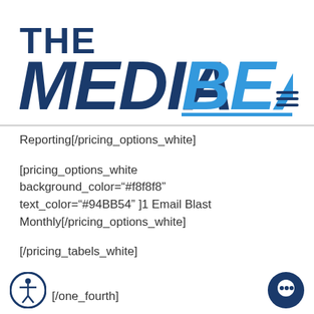[Figure (logo): The MediaBeast logo: 'THE' in dark navy bold, 'MEDIA' in dark navy condensed bold italic, 'BEAST' in bright blue condensed bold italic]
Reporting[/pricing_options_white]
[pricing_options_white background_color="#f8f8f8" text_color="#94BB54" ]1 Email Blast Monthly[/pricing_options_white]
[/pricing_tabels_white]
[/one_fourth]